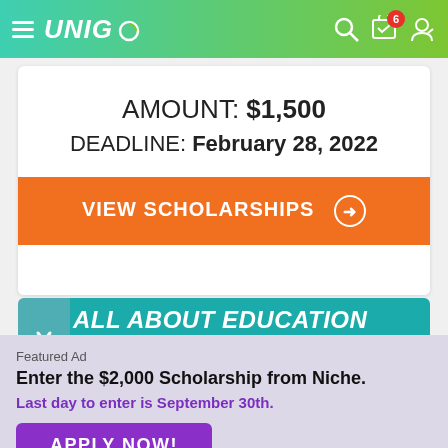UNIGO
AMOUNT: $1,500
DEADLINE: February 28, 2022
VIEW SCHOLARSHIPS
ALL ABOUT EDUCATION SCHOLARSHIP
Featured Ad
Enter the $2,000 Scholarship from Niche.
Last day to enter is September 30th.
APPLY NOW!